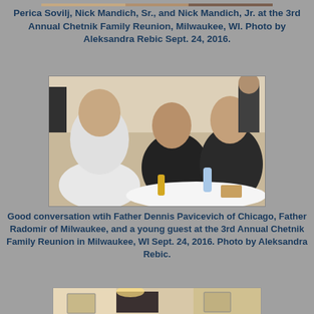[Figure (photo): Partial top photo showing people at the 3rd Annual Chetnik Family Reunion]
Perica Sovilj, Nick Mandich, Sr., and Nick Mandich, Jr. at the 3rd Annual Chetnik Family Reunion, Milwaukee, WI. Photo by Aleksandra Rebic Sept. 24, 2016.
[Figure (photo): Three men seated at a table in conversation: a young man in white shirt on the left, Father Dennis Pavicevich of Chicago in the middle, and Father Radomir of Milwaukee on the right, at the 3rd Annual Chetnik Family Reunion]
Good conversation wtih Father Dennis Pavicevich of Chicago, Father Radomir of Milwaukee, and a young guest at the 3rd Annual Chetnik Family Reunion in Milwaukee, WI Sept. 24, 2016. Photo by Aleksandra Rebic.
[Figure (photo): Bottom partial photo of an indoor room setting at the event]